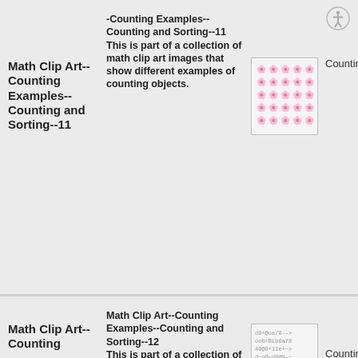Math Clip Art-- Counting Examples-- Counting and Sorting--11
Math Clip Art--Counting Examples--Counting and Sorting--11 This is part of a collection of math clip art images that show different examples of counting objects.
[Figure (illustration): Thumbnail image showing a grid of small counting object icons (approximately 20 objects arranged in 4 rows of 5)]
Counting
Math Clip Art-- Counting
Math Clip Art--Counting Examples--Counting and Sorting--12 This is part of a collection of
[Figure (illustration): Thumbnail image showing a grid of small mixed math symbol and object icons]
Counting